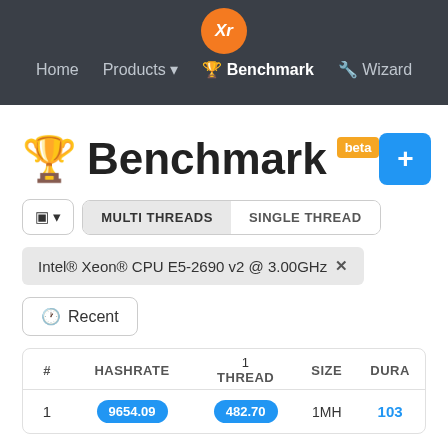Xr | Home | Products | Benchmark | Wizard
Benchmark beta
MULTI THREADS | SINGLE THREAD
Intel® Xeon® CPU E5-2690 v2 @ 3.00GHz ✕
Recent
| # | HASHRATE | 1
THREAD | SIZE | DURA |
| --- | --- | --- | --- | --- |
| 1 | 9654.09 | 482.70 | 1MH | 103 |